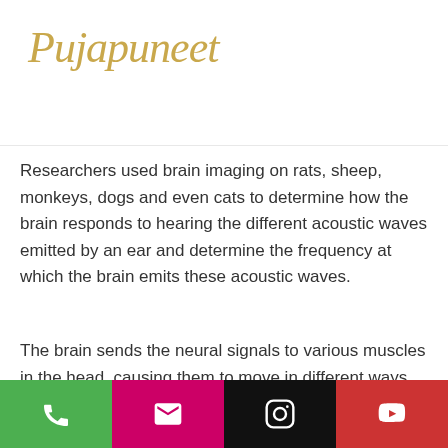Pujapuneet [logo with hamburger menu]
mples of ng it failure.
Researchers used brain imaging on rats, sheep, monkeys, dogs and even cats to determine how the brain responds to hearing the different acoustic waves emitted by an ear and determine the frequency at which the brain emits these acoustic waves.
The brain sends the neural signals to various muscles in the head, causing them to move in different ways and produce different patterns of tones. The researchers looked at the muscle movements in different brain areas to determine which patterns of movements resulted in the different noises, anadrol anabolic rating.
Phone | Email | Instagram | YouTube [icon bar]